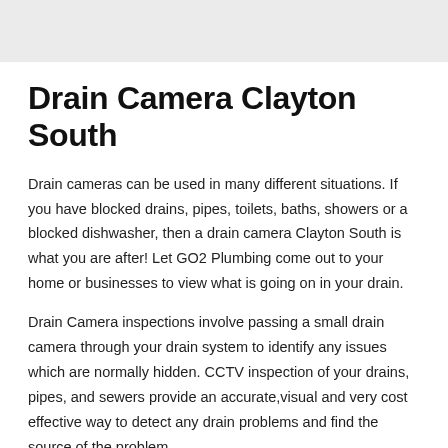Drain Camera Clayton South
Drain cameras can be used in many different situations. If you have blocked drains, pipes, toilets, baths, showers or a blocked dishwasher, then a drain camera Clayton South is what you are after! Let GO2 Plumbing come out to your home or businesses to view what is going on in your drain.
Drain Camera inspections involve passing a small drain camera through your drain system to identify any issues which are normally hidden. CCTV inspection of your drains, pipes, and sewers provide an accurate,visual and very cost effective way to detect any drain problems and find the source of the problem.